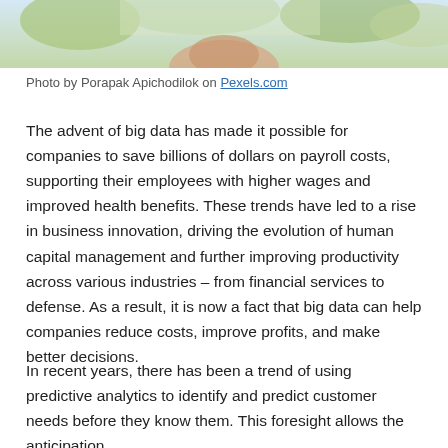[Figure (photo): Cropped photo showing top portion of an outdoor scene, appears to be a person in a natural/outdoor setting with greenery and light tones visible at the top of the page.]
Photo by Porapak Apichodilok on Pexels.com
The advent of big data has made it possible for companies to save billions of dollars on payroll costs, supporting their employees with higher wages and improved health benefits. These trends have led to a rise in business innovation, driving the evolution of human capital management and further improving productivity across various industries – from financial services to defense. As a result, it is now a fact that big data can help companies reduce costs, improve profits, and make better decisions.
In recent years, there has been a trend of using predictive analytics to identify and predict customer needs before they know them. This foresight allows the anticipation...